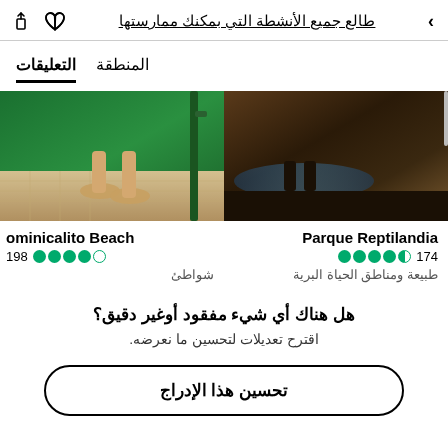طالع جميع الأنشطة التي بمكنك ممارستها
المنطقة   التعليقات
[Figure (photo): Two side-by-side photos: left shows a dark sandy beach at night with water reflection; right shows a person's feet/sandals near a green wall]
Parque Reptilandia
174 ●●●●◑
طبيعة ومناطق الحياة البرية
ominicalito Beach
198 ●●●●○
شواطئ
هل هناك أي شيء مفقود أوغير دقيق؟
اقترح تعديلات لتحسين ما نعرضه.
تحسين هذا الإدراج